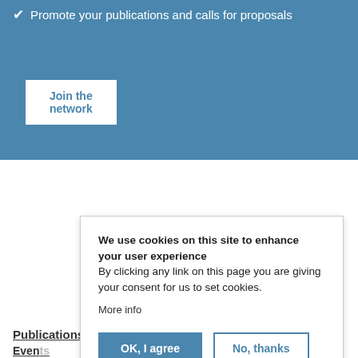✔ Promote your publications and calls for proposals
Join the network
Publications
Events
Members
Calls
What's new
COVID-19 Resources
About
Contact
Newsletter
Legal
We use cookies on this site to enhance your user experience
By clicking any link on this page you are giving your consent for us to set cookies.
More info
OK, I agree
No, thanks